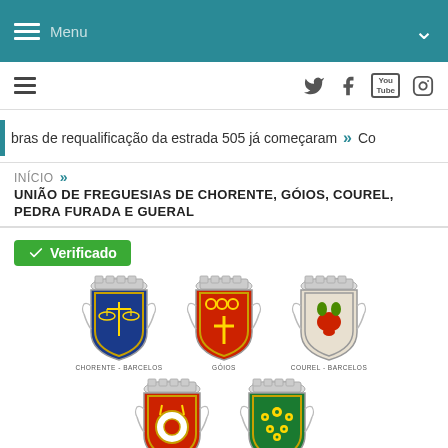Menu
[Figure (screenshot): Secondary navigation bar with hamburger menu and social media icons (Twitter, Facebook, YouTube, Instagram)]
obras de requalificação da estrada 505 já começaram >> Co
INÍCIO >> UNIÃO DE FREGUESIAS DE CHORENTE, GÓIOS, COUREL, PEDRA FURADA E GUERAL
Verificado
[Figure (illustration): Five municipal coat of arms shields: Chorente-Barcelos (blue with scales), Góios (red with crosses), Courel-Barcelos (white/grey with frog), Pedra Furada (red with circle), Gueral (green with flowers)]